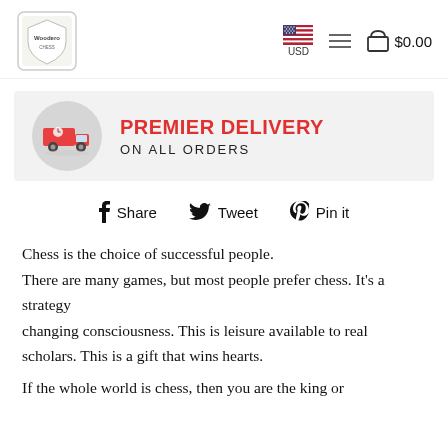Woodero logo | USD currency selector | hamburger menu | cart $0.00
[Figure (infographic): Premier Delivery on All Orders banner with red delivery truck icon in grey circle]
Share  Tweet  Pin it
Chess is the choice of successful people.
There are many games, but most people prefer chess. It's a strategy
changing consciousness. This is leisure available to real scholars. This is a gift that wins hearts.
If the whole world is chess, then you are the king or